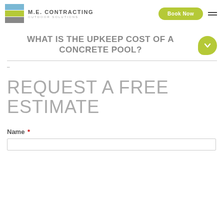M.E. CONTRACTING OUTDOOR SOLUTIONS | Book Now
WHAT IS THE UPKEEP COST OF A CONCRETE POOL?
–
REQUEST A FREE ESTIMATE
Name *